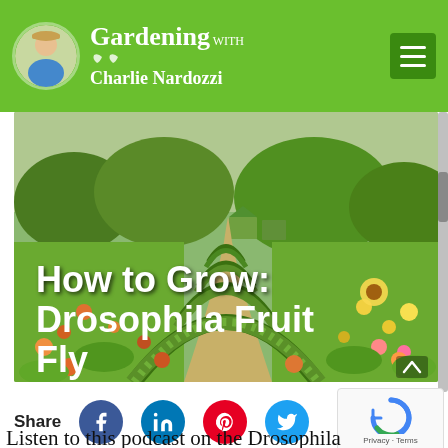Gardening with Charlie Nardozzi
[Figure (photo): Garden path with green arched trellises covered in plants, colorful flowers on both sides, leading to a green house in the background. Text overlay reads 'How to Grow: Drosophila Fruit Fly']
How to Grow: Drosophila Fruit Fly
Share
Listen to this podcast on the Drosophila